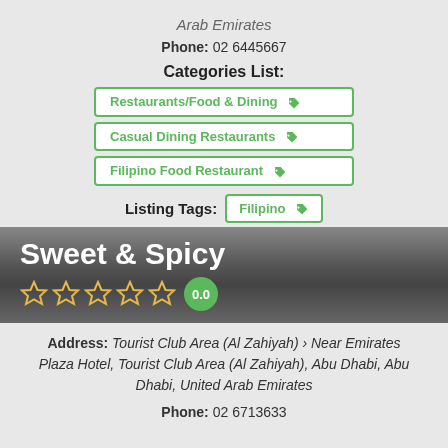Arab Emirates
Phone: 02 6445667
Categories List:
Restaurants/Food & Dining
Casual Dining Restaurants
Filipino Food Restaurant
Listing Tags: Filipino
Sweet & Spicy
0.0
Address: Tourist Club Area (Al Zahiyah) › Near Emirates Plaza Hotel, Tourist Club Area (Al Zahiyah), Abu Dhabi, Abu Dhabi, United Arab Emirates
Phone: 02 6713633